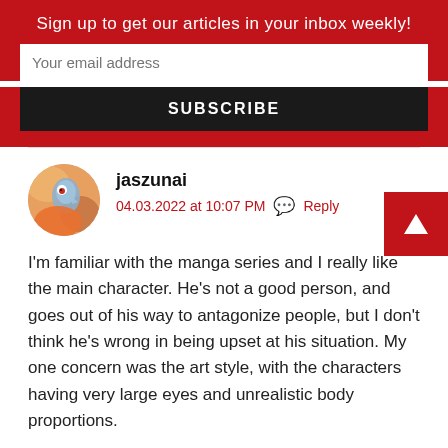Sign up to get our articles in your inbox weekly!
Your email address
SUBSCRIBE
[Figure (illustration): Red upward-pointing triangle arrow button for scroll to top]
jaszunai
04.03.2022 at 10:07 PM   Reply
[Figure (photo): Circular avatar image showing an illustrated bird/creature character]
I'm familiar with the manga series and I really like the main character. He's not a good person, and goes out of his way to antagonize people, but I don't think he's wrong in being upset at his situation. My one concern was the art style, with the characters having very large eyes and unrealistic body proportions.
Like